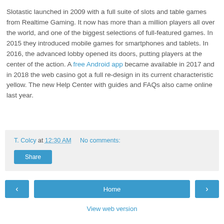Slotastic launched in 2009 with a full suite of slots and table games from Realtime Gaming. It now has more than a million players all over the world, and one of the biggest selections of full-featured games. In 2015 they introduced mobile games for smartphones and tablets. In 2016, the advanced lobby opened its doors, putting players at the center of the action. A free Android app became available in 2017 and in 2018 the web casino got a full re-design in its current characteristic yellow. The new Help Center with guides and FAQs also came online last year.
T. Colcy at 12:30 AM   No comments:
Share
< Home > View web version